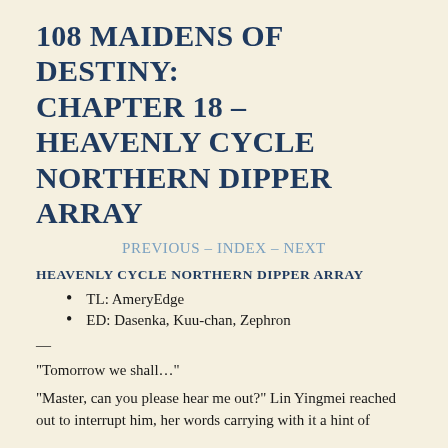108 MAIDENS OF DESTINY: CHAPTER 18 – HEAVENLY CYCLE NORTHERN DIPPER ARRAY
PREVIOUS – INDEX – NEXT
HEAVENLY CYCLE NORTHERN DIPPER ARRAY
TL: AmeryEdge
ED: Dasenka, Kuu-chan, Zephron
—
“Tomorrow we shall…”
“Master, can you please hear me out?” Lin Yingmei reached out to interrupt him, her words carrying with it a hint of